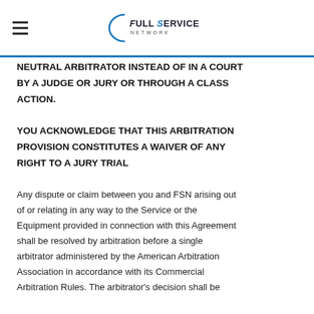Full Service Network
NEUTRAL ARBITRATOR INSTEAD OF IN A COURT BY A JUDGE OR JURY OR THROUGH A CLASS ACTION.
YOU ACKNOWLEDGE THAT THIS ARBITRATION PROVISION CONSTITUTES A WAIVER OF ANY RIGHT TO A JURY TRIAL
Any dispute or claim between you and FSN arising out of or relating in any way to the Service or the Equipment provided in connection with this Agreement shall be resolved by arbitration before a single arbitrator administered by the American Arbitration Association in accordance with its Commercial Arbitration Rules. The arbitrator's decision shall be